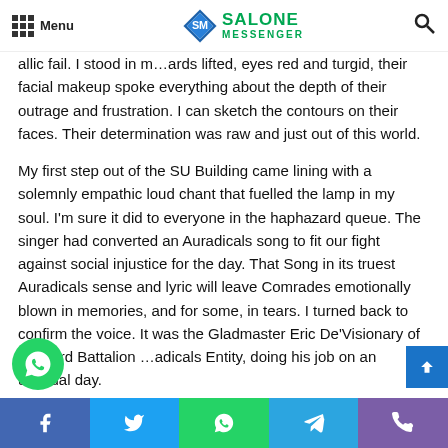Menu | SALONE MESSENGER
allic fail. I stood in m…ards lifted, eyes red and turgid, their facial makeup spoke everything about the depth of their outrage and frustration. I can sketch the contours on their faces. Their determination was raw and just out of this world.
My first step out of the SU Building came lining with a solemnly empathic loud chant that fuelled the lamp in my soul. I'm sure it did to everyone in the haphazard queue. The singer had converted an Auradicals song to fit our fight against social injustice for the day. That Song in its truest Auradicals sense and lyric will leave Comrades emotionally blown in memories, and for some, in tears. I turned back to confirm the voice. It was the Gladmaster Eric De'Visionary of the 43rd Battalion …adicals Entity, doing his job on an unusual day.
Facebook | Twitter | WhatsApp | Telegram | Phone